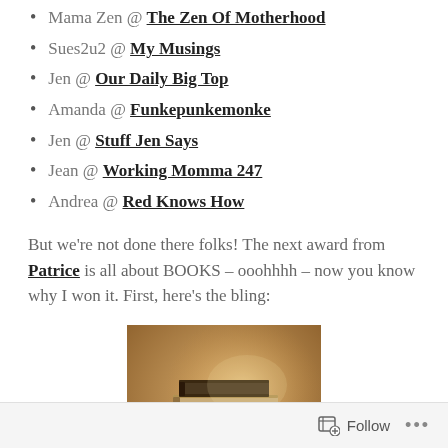Mama Zen @ The Zen Of Motherhood
Sues2u2 @ My Musings
Jen @ Our Daily Big Top
Amanda @ Funkepunkemonke
Jen @ Stuff Jen Says
Jean @ Working Momma 247
Andrea @ Red Knows How
But we’re not done there folks! The next award from Patrice is all about BOOKS – ooohhhh – now you know why I won it. First, here’s the bling:
[Figure (photo): A painted/illustrated image of a stack of old vintage books piled on a surface with a warm brown background.]
Follow ...